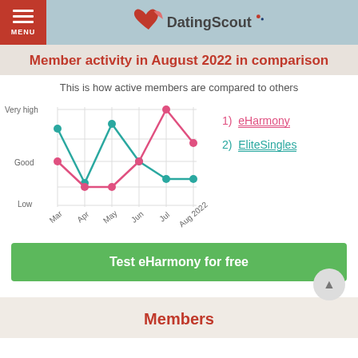DatingScout — MENU
Member activity in August 2022 in comparison
This is how active members are compared to others
[Figure (line-chart): Member activity comparison]
1) eHarmony
2) EliteSingles
Test eHarmony for free
Members